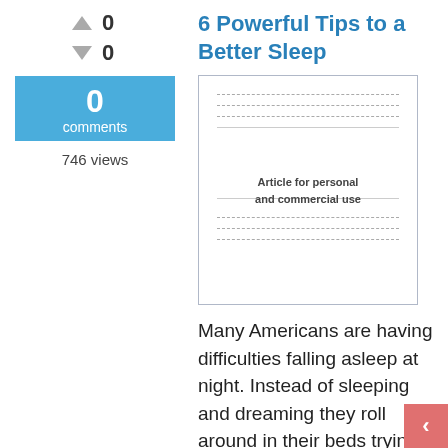6 Powerful Tips to a Better Sleep
0
0
0
comments
746 views
[Figure (illustration): Thumbnail image of an article page with dashed lines representing text and a watermark reading 'Article for personal and commercial use']
Many Americans are having difficulties falling asleep at night. Instead of sleeping and dreaming they roll around in their beds trying ... long you have been awake has shown to improve healthy sleep.